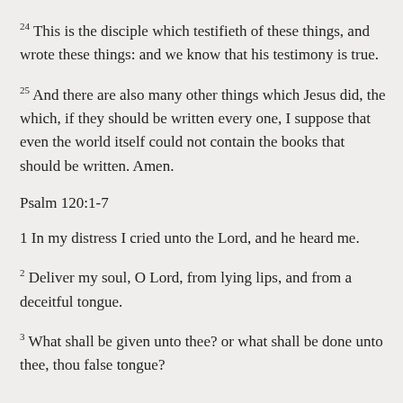24 This is the disciple which testifieth of these things, and wrote these things: and we know that his testimony is true.
25 And there are also many other things which Jesus did, the which, if they should be written every one, I suppose that even the world itself could not contain the books that should be written. Amen.
Psalm 120:1-7
1 In my distress I cried unto the Lord, and he heard me.
2 Deliver my soul, O Lord, from lying lips, and from a deceitful tongue.
3 What shall be given unto thee? or what shall be done unto thee, thou false tongue?